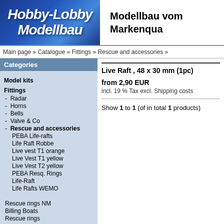[Figure (logo): Hobby-Lobby Modellbau logo with blue gradient italic text]
Modellbau vom Markenqua
Main page » Catalogue » Fittings » Rescue and accessories »
Categories
Model kits
Fittings
- Radar
- Horns
- Bells
- Valve & Co
- Rescue and accessories
PEBA Life-rafts
Life Raft Robbe
Live vest T1 orange
Live Vest T1 yellow
Live Vest T2 yellow
PEBA Resq. Rings
Life-Raft
Life Rafts WEMO
Rescue rings NM
Billing Boats
Rescue rings
Live Raft , 48 x 30 mm (1pc)
from 2,90 EUR
incl. 19 % Tax excl. Shipping costs
Show 1 to 1 (of in total 1 products)